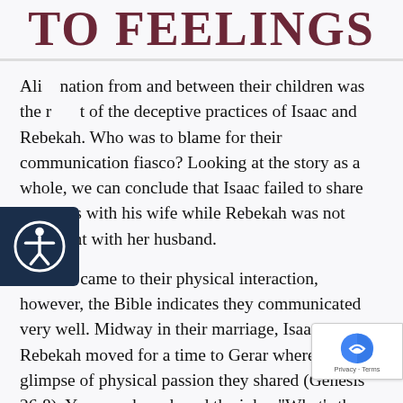TO FEELINGS
Alienation from and between their children was the result of the deceptive practices of Isaac and Rebekah. Who was to blame for their communication fiasco? Looking at the story as a whole, we can conclude that Isaac failed to share his goals with his wife while Rebekah was not forthright with her husband.
When it came to their physical interaction, however, the Bible indicates they communicated very well. Midway in their marriage, Isaac and Rebekah moved for a time to Gerar where we get a glimpse of the physical passion they shared (Genesis 26:8). You may have heard the joke, "What's the second thing